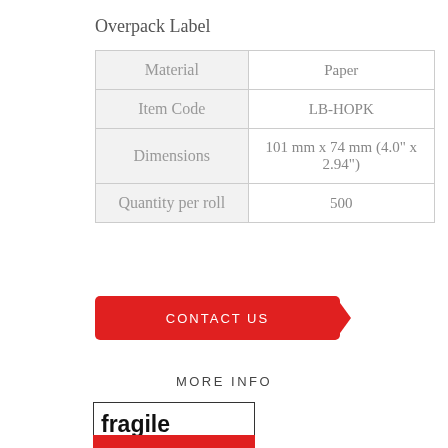Overpack Label
|  |  |
| --- | --- |
| Material | Paper |
| Item Code | LB-HOPK |
| Dimensions | 101 mm x 74 mm (4.0" x 2.94") |
| Quantity per roll | 500 |
CONTACT US
MORE INFO
[Figure (illustration): Fragile label with bold 'fragile' text and red bar at bottom]